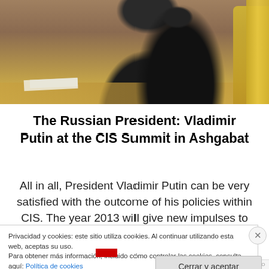[Figure (photo): Photograph showing the back of a person in a dark suit seated at a table, likely at a formal summit meeting. A decorative golden chair is visible on the right side.]
The Russian President: Vladimir Putin at the CIS Summit in Ashgabat
All in all, President Vladimir Putin can be very satisfied with the outcome of his policies within CIS. The year 2013 will give new impulses to this organization, as the presidency rotates from Turkmenistan in Central Asia to
Privacidad y cookies: este sitio utiliza cookies. Al continuar utilizando esta web, aceptas su uso.
Para obtener más información, incluido cómo controlar las cookies, consulta aquí: Política de cookies
Cerrar y aceptar